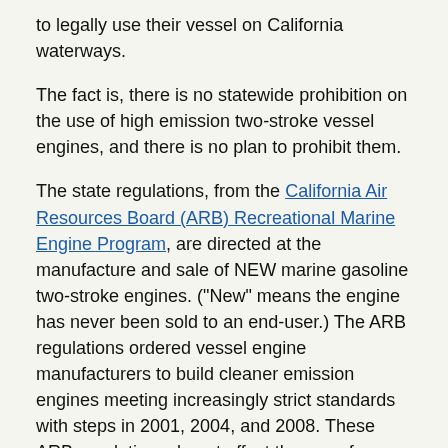to legally use their vessel on California waterways.
The fact is, there is no statewide prohibition on the use of high emission two-stroke vessel engines, and there is no plan to prohibit them.
The state regulations, from the California Air Resources Board (ARB) Recreational Marine Engine Program, are directed at the manufacture and sale of NEW marine gasoline two-stroke engines. ("New" means the engine has never been sold to an end-user.) The ARB regulations ordered vessel engine manufacturers to build cleaner emission engines meeting increasingly strict standards with steps in 2001, 2004, and 2008. These ARB regulations do not affect the use of any vessels on waterways, other than the fact that consumers will obtain improved gas mileage from the new models now on the market.
A number of cities, counties or districts have adopted ordinances on drinking water reservoirs that restrict or ban the use of high